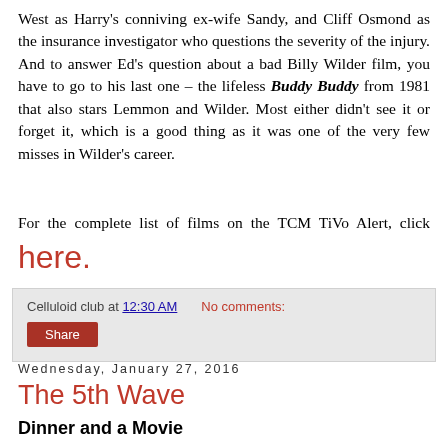West as Harry's conniving ex-wife Sandy, and Cliff Osmond as the insurance investigator who questions the severity of the injury. And to answer Ed's question about a bad Billy Wilder film, you have to go to his last one – the lifeless Buddy Buddy from 1981 that also stars Lemmon and Wilder. Most either didn't see it or forget it, which is a good thing as it was one of the very few misses in Wilder's career.
For the complete list of films on the TCM TiVo Alert, click here.
Celluloid club at 12:30 AM   No comments:
Share
Wednesday, January 27, 2016
The 5th Wave
Dinner and a Movie